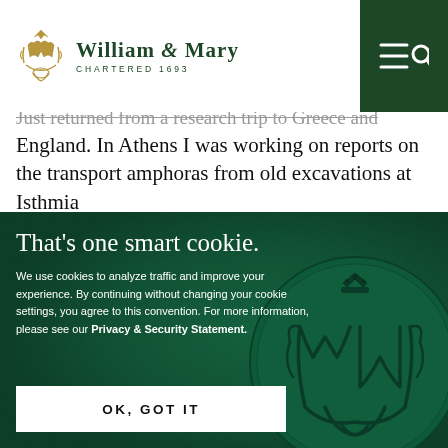[Figure (logo): William & Mary university logo with gold monogram crest and green text reading 'WILLIAM & MARY CHARTERED 1693']
Just returned from a research trip to Greece and England. In Athens I was working on reports on the transport amphoras from old excavations at Isthmia
That's one smart cookie.
We use cookies to analyze traffic and improve your experience. By continuing without changing your cookie settings, you agree to this convention. For more information, please see our Privacy & Security Statement.
OK, GOT IT